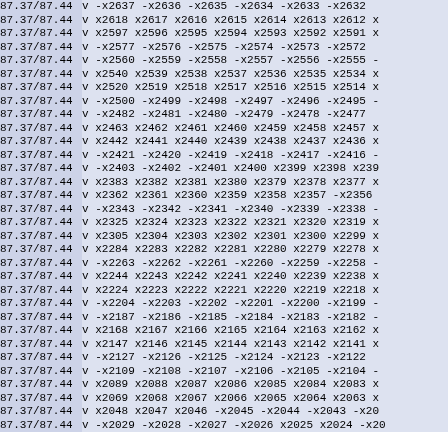| addr | data |
| --- | --- |
| 87.37/87.44 | v -x2637 -x2636 -x2635 -x2634 -x2633 -x2632 |
| 87.37/87.44 | v x2618 x2617 x2616 x2615 x2614 x2613 x2612 x |
| 87.37/87.44 | v x2597 x2596 x2595 x2594 x2593 x2592 x2591 x |
| 87.37/87.44 | v -x2577 -x2576 -x2575 -x2574 -x2573 -x2572 |
| 87.37/87.44 | v -x2560 -x2559 -x2558 -x2557 -x2556 -x2555 - |
| 87.37/87.44 | v x2540 x2539 x2538 x2537 x2536 x2535 x2534 x |
| 87.37/87.44 | v x2520 x2519 x2518 x2517 x2516 x2515 x2514 x |
| 87.37/87.44 | v -x2500 -x2499 -x2498 -x2497 -x2496 -x2495 - |
| 87.37/87.44 | v -x2482 -x2481 -x2480 -x2479 -x2478 -x2477 |
| 87.37/87.44 | v x2463 x2462 x2461 x2460 x2459 x2458 x2457 x |
| 87.37/87.44 | v x2442 x2441 x2440 x2439 x2438 x2437 x2436 x |
| 87.37/87.44 | v -x2421 -x2420 -x2419 -x2418 -x2417 -x2416 - |
| 87.37/87.44 | v -x2403 -x2402 -x2401 x2400 x2399 x2398 x239 |
| 87.37/87.44 | v x2383 x2382 x2381 x2380 x2379 x2378 x2377 x |
| 87.37/87.44 | v x2362 x2361 x2360 x2359 x2358 x2357 -x2356 |
| 87.37/87.44 | v -x2343 -x2342 -x2341 -x2340 -x2339 -x2338 - |
| 87.37/87.44 | v x2325 x2324 x2323 x2322 x2321 x2320 x2319 x |
| 87.37/87.44 | v x2305 x2304 x2303 x2302 x2301 x2300 x2299 x |
| 87.37/87.44 | v x2284 x2283 x2282 x2281 x2280 x2279 x2278 x |
| 87.37/87.44 | v -x2263 -x2262 -x2261 -x2260 -x2259 -x2258 - |
| 87.37/87.44 | v x2244 x2243 x2242 x2241 x2240 x2239 x2238 x |
| 87.37/87.44 | v x2224 x2223 x2222 x2221 x2220 x2219 x2218 x |
| 87.37/87.44 | v -x2204 -x2203 -x2202 -x2201 -x2200 -x2199 - |
| 87.37/87.44 | v -x2187 -x2186 -x2185 -x2184 -x2183 -x2182 - |
| 87.37/87.44 | v x2168 x2167 x2166 x2165 x2164 x2163 x2162 x |
| 87.37/87.44 | v x2147 x2146 x2145 x2144 x2143 x2142 x2141 x |
| 87.37/87.44 | v -x2127 -x2126 -x2125 -x2124 -x2123 -x2122 |
| 87.37/87.44 | v -x2109 -x2108 -x2107 -x2106 -x2105 -x2104 - |
| 87.37/87.44 | v x2089 x2088 x2087 x2086 x2085 x2084 x2083 x |
| 87.37/87.44 | v x2069 x2068 x2067 x2066 x2065 x2064 x2063 x |
| 87.37/87.44 | v x2048 x2047 x2046 -x2045 -x2044 -x2043 -x20 |
| 87.37/87.44 | v -x2029 -x2028 -x2027 -x2026 x2025 x2024 -x20 |